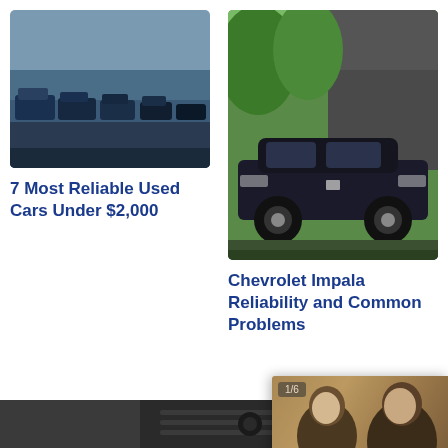[Figure (photo): Row of cars in a parking lot/dealership, blue-grey tones]
7 Most Reliable Used Cars Under $2,000
[Figure (photo): Dark blue Chevrolet Impala parked in front of a building with green trees]
Chevrolet Impala Reliability and Common Problems
X
File Under : Vehic
Tagged With : mit
[Figure (photo): Advertisement overlay: 1/6 - People inside a car. GET $30 OFF EVERYTHING For Each Friend You Refer to CarParts.com]
Get FREE Auto Repair Tips + 10% OFF on CarParts.com
Email address
Sign Up